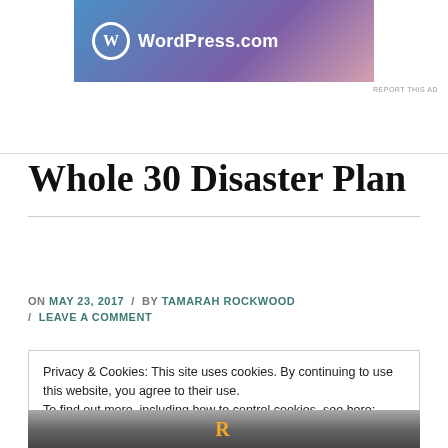[Figure (logo): WordPress.com advertisement banner with gradient blue-purple background and WordPress logo]
REPORT THIS AD
Whole 30 Disaster Plan
ON MAY 23, 2017 / BY TAMARAH ROCKWOOD / LEAVE A COMMENT
Privacy & Cookies: This site uses cookies. By continuing to use this website, you agree to their use.
To find out more, including how to control cookies, see here: Cookie Policy
[Figure (photo): Partial bottom image strip showing what appears to be food or decorative item]